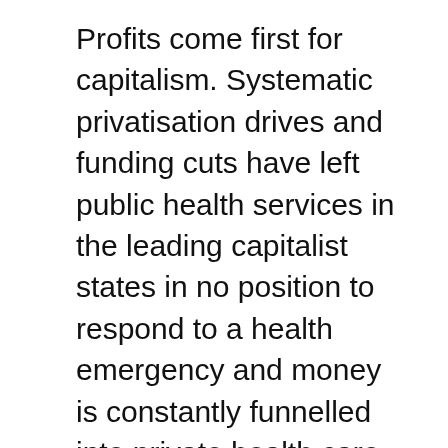Profits come first for capitalism. Systematic privatisation drives and funding cuts have left public health services in the leading capitalist states in no position to respond to a health emergency and money is constantly funnelled into private health care providers who now expect to make a fortune on the back of the crisis. Medical production companies profiteer from the crisis themselves and production is hampered further by the profiteering of their suppliers.
The sick and dying economic system that systematically degraded the global environment has taken a life threatening seizure. They are trying to manage that collapse in their own interests no matter what the cost to the old, the